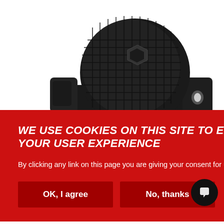[Figure (photo): Black plastic vehicle reversing alarm / buzzer with circular speaker grille and mounting bracket, photographed on white background.]
WE USE COOKIES ON THIS SITE TO ENHANCE YOUR USER EXPERIENCE
By clicking any link on this page you are giving your consent for us to set cookies.
OK, I agree
No, thanks
keep everyone happy.